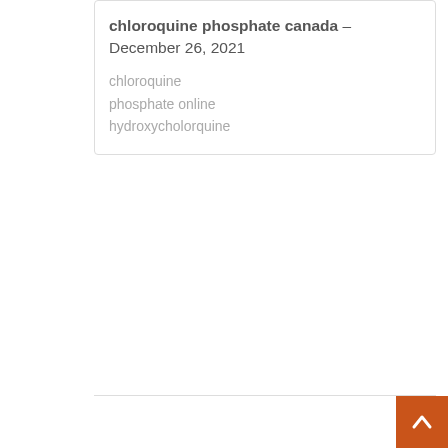chloroquine phosphate canada – December 26, 2021
chloroquine phosphate online hydroxycholorquine
[Figure (illustration): User avatar placeholder grey silhouette icon]
hydroxychloroquine buy – December 29, 2021
chloroquine generic hydroxychloronique
[Figure (illustration): User avatar placeholder grey silhouette icon]
generic – cialis tadalafil
[Figure (illustration): Back to top button orange square with upward arrow]